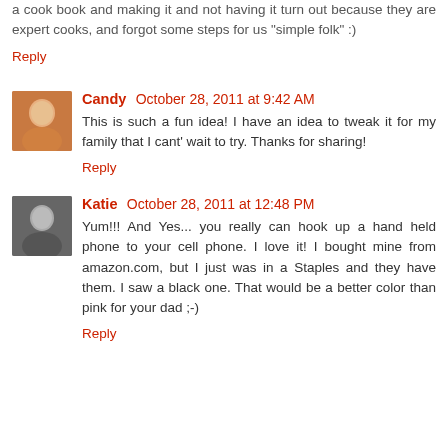a cook book and making it and not having it turn out because they are expert cooks, and forgot some steps for us "simple folk" :)
Reply
Candy  October 28, 2011 at 9:42 AM
This is such a fun idea! I have an idea to tweak it for my family that I cant' wait to try. Thanks for sharing!
Reply
Katie  October 28, 2011 at 12:48 PM
Yum!!! And Yes... you really can hook up a hand held phone to your cell phone. I love it! I bought mine from amazon.com, but I just was in a Staples and they have them. I saw a black one. That would be a better color than pink for your dad ;-)
Reply